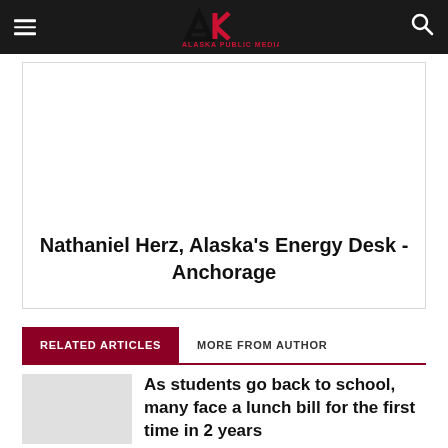Alaska Public Media
Nathaniel Herz, Alaska's Energy Desk - Anchorage
RELATED ARTICLES
MORE FROM AUTHOR
As students go back to school, many face a lunch bill for the first time in 2 years